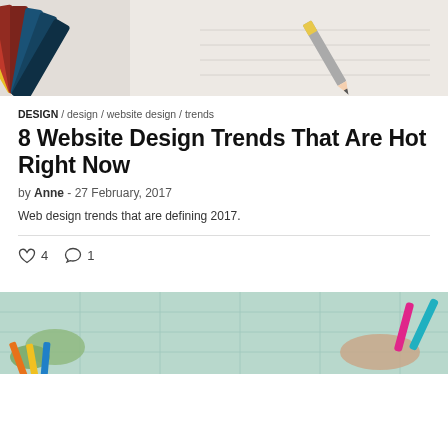[Figure (photo): Top portion of a design workspace photo showing color swatches fan on the left and a pencil on white paper on the right, light background]
DESIGN / design / website design / trends
8 Website Design Trends That Are Hot Right Now
by Anne - 27 February, 2017
Web design trends that are defining 2017.
♡ 4   ○ 1
[Figure (photo): Bottom portion showing hands of a child drawing or working on blueprints/plans with colored pencils and markers on a light teal background]